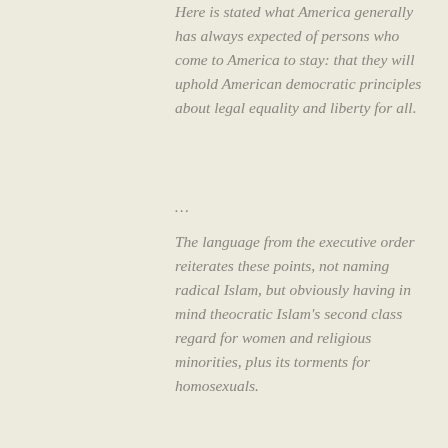Here is stated what America generally has always expected of persons who come to America to stay: that they will uphold American democratic principles about legal equality and liberty for all.
…
The language from the executive order reiterates these points, not naming radical Islam, but obviously having in mind theocratic Islam's second class regard for women and religious minorities, plus its torments for homosexuals.
Religious critics of the executive order insist current screening of refugee applicants is sufficient. And many point out that few refugees historically have become violent. Yet these critics typically don't address the imperative of upholding America's democratic ethos.
…
America's various religious traditions, starting with the early Protestants and later joined by Catholics and